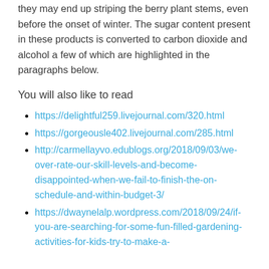they may end up striping the berry plant stems, even before the onset of winter. The sugar content present in these products is converted to carbon dioxide and alcohol a few of which are highlighted in the paragraphs below.
You will also like to read
https://delightful259.livejournal.com/320.html
https://gorgeousle402.livejournal.com/285.html
http://carmellayvo.edublogs.org/2018/09/03/we-over-rate-our-skill-levels-and-become-disappointed-when-we-fail-to-finish-the-on-schedule-and-within-budget-3/
https://dwaynelalp.wordpress.com/2018/09/24/if-you-are-searching-for-some-fun-filled-gardening-activities-for-kids-try-to-make-a-